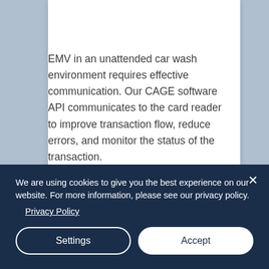EMV in an unattended car wash environment requires effective communication. Our CAGE software API communicates to the card reader to improve transaction flow, reduce errors, and monitor the status of the transaction.
Real-time corrective commands to
We are using cookies to give you the best experience on our website. For more information, please see our privacy policy. Privacy Policy
Settings
Accept